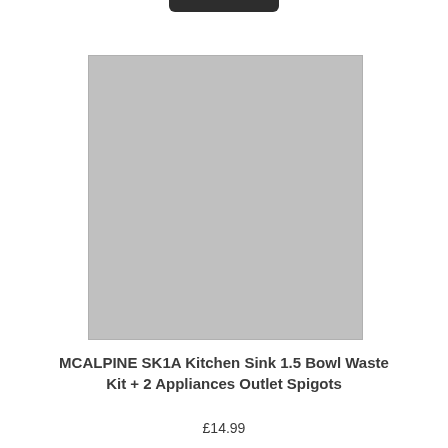[Figure (photo): Product image placeholder — grey rectangle representing the McAlpine SK1A Kitchen Sink Waste Kit product photo]
MCALPINE SK1A Kitchen Sink 1.5 Bowl Waste Kit + 2 Appliances Outlet Spigots
£14.99